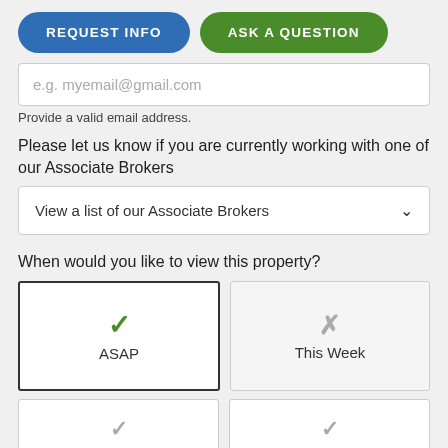REQUEST INFO | ASK A QUESTION
e.g. myemail@gmail.com
Provide a valid email address.
Please let us know if you are currently working with one of our Associate Brokers
View a list of our Associate Brokers
When would you like to view this property?
ASAP
This Week